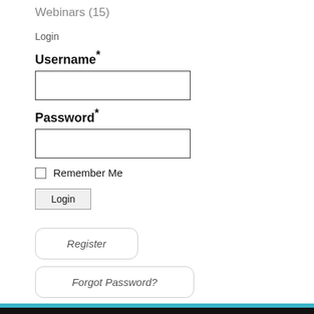Webinars (15)
Login
Username*
Password*
Remember Me
Login
Register
Forgot Password?